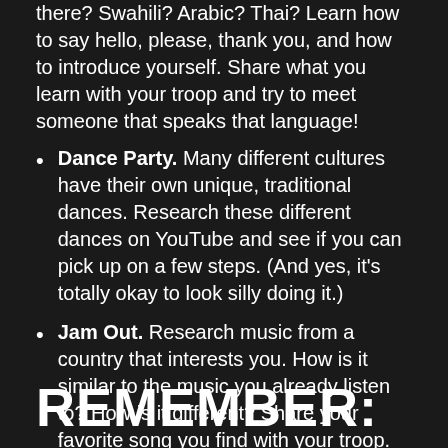there? Swahili? Arabic? Thai? Learn how to say hello, please, thank you, and how to introduce yourself. Share what you learn with your troop and try to meet someone that speaks that language!
Dance Party. Many different cultures have their own unique, traditional dances. Research these different dances on YouTube and see if you can pick up on a few steps. (And yes, it's totally okay to look silly doing it.)
Jam Out. Research music from a country that interests you. How is it similar to the music you already listen to? How is it different? Share your favorite song you find with your troop.
REMEMBER: